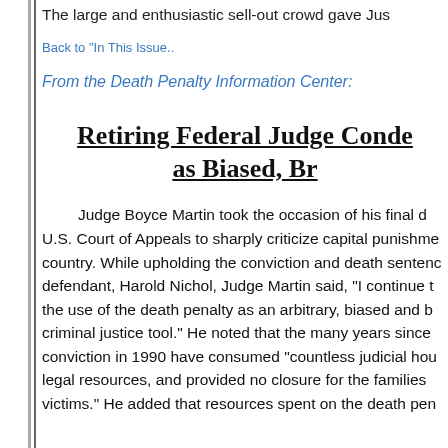The large and enthusiastic sell-out crowd gave Jus
Back to "In This Issue..
From the Death Penalty Information Center:
Retiring Federal Judge Condemns Death Penalty as Biased, Br...
Judge Boyce Martin took the occasion of his final day on the U.S. Court of Appeals to sharply criticize capital punishment in this country. While upholding the conviction and death sentence of defendant, Harold Nichol, Judge Martin said, “I continue to view the use of the death penalty as an arbitrary, biased and broken criminal justice tool.” He noted that the many years since Nichol’s conviction in 1990 have consumed “countless judicial hours, scarce legal resources, and provided no closure for the families of the victims.” He added that resources spent on the death pen...